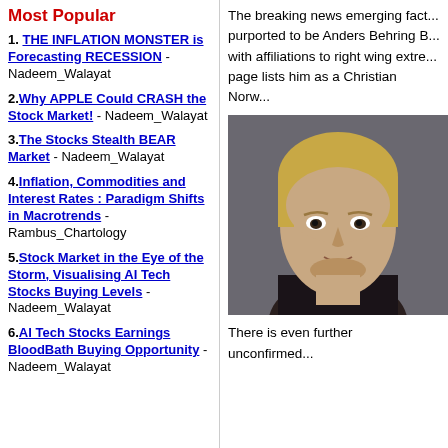Most Popular
1. THE INFLATION MONSTER is Forecasting RECESSION - Nadeem_Walayat
2. Why APPLE Could CRASH the Stock Market! - Nadeem_Walayat
3. The Stocks Stealth BEAR Market - Nadeem_Walayat
4. Inflation, Commodities and Interest Rates : Paradigm Shifts in Macrotrends - Rambus_Chartology
5. Stock Market in the Eye of the Storm, Visualising AI Tech Stocks Buying Levels - Nadeem_Walayat
6. AI Tech Stocks Earnings BloodBath Buying Opportunity - Nadeem_Walayat
The breaking news emerging fact... purported to be Anders Behring B... with affiliations to right wing extre... page lists him as a Christian Norw...
[Figure (photo): Portrait photo of a young blond man against a grey background]
There is even further unconfirmed...